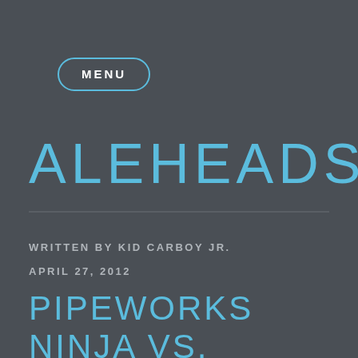MENU
ALEHEADS
WRITTEN BY KID CARBOY JR.
APRIL 27, 2012
PIPEWORKS NINJA VS. UNICORN